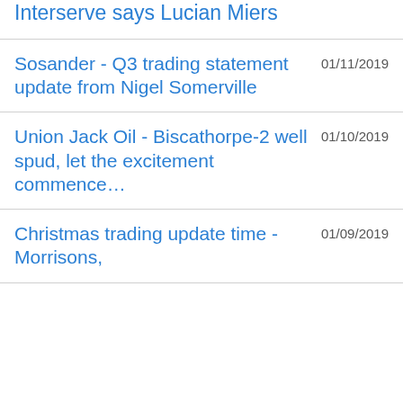Interserve says Lucian Miers
Sosander - Q3 trading statement update from Nigel Somerville
Union Jack Oil - Biscathorpe-2 well spud, let the excitement commence…
Christmas trading update time - Morrisons,